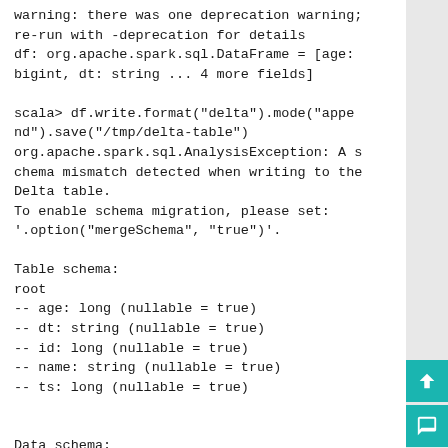warning: there was one deprecation warning;
re-run with -deprecation for details
df: org.apache.spark.sql.DataFrame = [age:
bigint, dt: string ... 4 more fields]

scala> df.write.format("delta").mode("append").save("/tmp/delta-table")
org.apache.spark.sql.AnalysisException: A schema mismatch detected when writing to the Delta table.
To enable schema migration, please set:
'.option("mergeSchema", "true")'.

Table schema:
root
-- age: long (nullable = true)
-- dt: string (nullable = true)
-- id: long (nullable = true)
-- name: string (nullable = true)
-- ts: long (nullable = true)


Data schema: